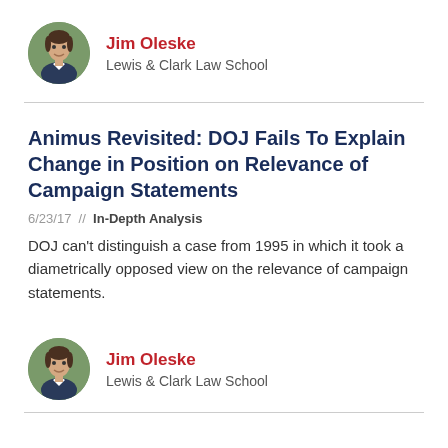[Figure (photo): Circular avatar photo of Jim Oleske]
Jim Oleske
Lewis & Clark Law School
Animus Revisited: DOJ Fails To Explain Change in Position on Relevance of Campaign Statements
6/23/17 // In-Depth Analysis
DOJ can't distinguish a case from 1995 in which it took a diametrically opposed view on the relevance of campaign statements.
[Figure (photo): Circular avatar photo of Jim Oleske]
Jim Oleske
Lewis & Clark Law School